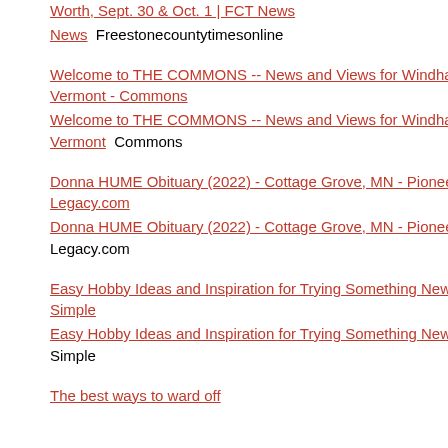Worth, Sept. 30 & Oct. 1 | FCT News   Freestonecountytimesonline
Welcome to THE COMMONS -- News and Views for Windham County, Vermont - Commons Welcome to THE COMMONS -- News and Views for Windham County, Vermont   Commons
Donna HUME Obituary (2022) - Cottage Grove, MN - Pioneer Press - Legacy.com Donna HUME Obituary (2022) - Cottage Grove, MN - Pioneer Press   Legacy.com
Easy Hobby Ideas and Inspiration for Trying Something New - Real Simple Easy Hobby Ideas and Inspiration for Trying Something New   Real Simple
The best ways to ward off